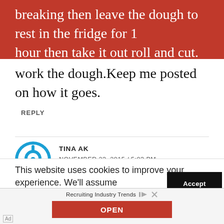breaking then leave the dough to rest in the fridge for 1 hour then take it out roll and cut. And also try not to over work the dough.Keep me posted on how it goes.
REPLY
TINA AK
NOVEMBER 23, 2015 / 5:03 PM
God bless you real good.
REPLY
This website uses cookies to improve your experience. We'll assume you're ok with this, but you can opt-out if you wish.
Accept
Recruiting Industry Trends
OPEN
Ad